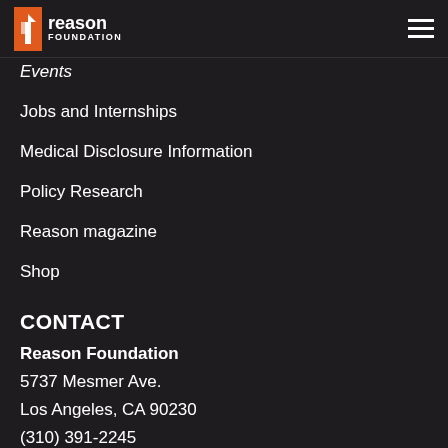Reason Foundation
Events
Jobs and Internships
Medical Disclosure Information
Policy Research
Reason magazine
Shop
CONTACT
Reason Foundation
5737 Mesmer Ave.
Los Angeles, CA 90230
(310) 391-2245
1747 Connecticut Ave NW